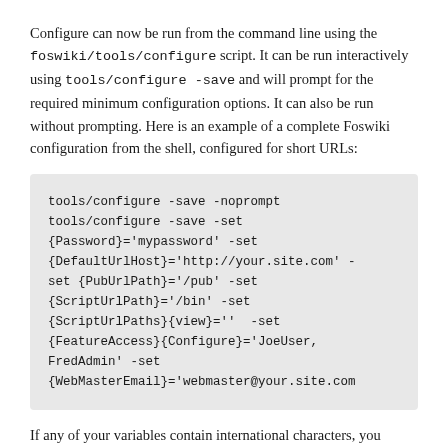Configure can now be run from the command line using the foswiki/tools/configure script. It can be run interactively using tools/configure -save and will prompt for the required minimum configuration options. It can also be run without prompting. Here is an example of a complete Foswiki configuration from the shell, configured for short URLs:
tools/configure -save -noprompt
tools/configure -save -set
{Password}='mypassword' -set
{DefaultUrlHost}='http://your.site.com' -set {PubUrlPath}='/pub' -set
{ScriptUrlPath}='/bin' -set
{ScriptUrlPaths}{view}=''  -set
{FeatureAccess}{Configure}='JoeUser,
FredAdmin' -set
{WebMasterEmail}='webmaster@your.site.com
If any of your variables contain international characters, you